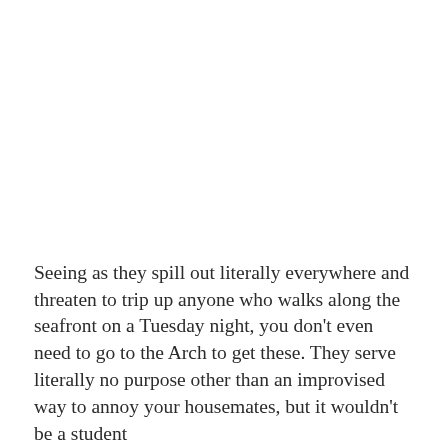Seeing as they spill out literally everywhere and threaten to trip up anyone who walks along the seafront on a Tuesday night, you don't even need to go to the Arch to get these. They serve literally no purpose other than an improvised way to annoy your housemates, but it wouldn't be a student